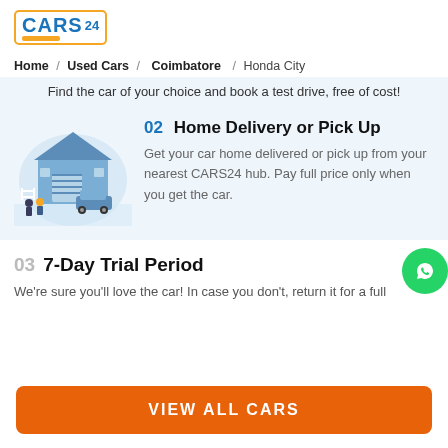[Figure (logo): CARS24 logo with orange border and diagonal stripe]
Home / Used Cars / Coimbatore / Honda City
Find the car of your choice and book a test drive, free of cost!
[Figure (illustration): Illustration of a house with people and a car, home delivery scene]
02 Home Delivery or Pick Up
Get your car home delivered or pick up from your nearest CARS24 hub. Pay full price only when you get the car.
03 7-Day Trial Period
We're sure you'll love the car! In case you don't, return it for a full
VIEW ALL CARS